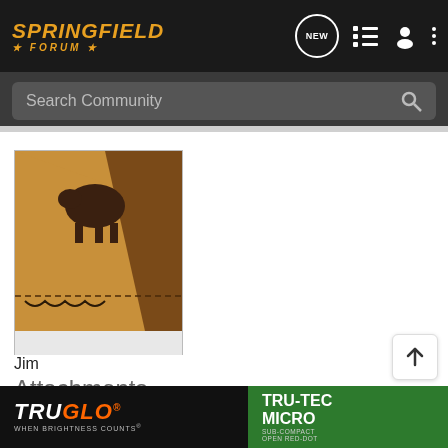Springfield Forum
[Figure (screenshot): Springfield Forum website header with logo, NEW posts icon, list icon, user icon, and more-options icon on dark background]
Search Community
[Figure (photo): Close-up photo of a tan/leather firearm buttstock with a dark brown animal silhouette stamp, stitching along edge, resting on white cloth]
Jim
Attachments
[Figure (photo): Thumbnail of attachment image 1 - appears to show a firearm part, blue/gray tones]
[Figure (photo): Thumbnail of attachment image 2 - appears to show firearm accessories, green tones]
[Figure (photo): TruGlo advertisement banner - TRUGLO TRU-TEC MICRO Sub-Compact Open Red-Dot, When Brightness Counts]